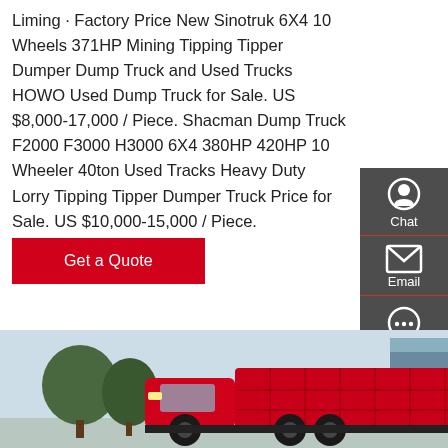Liming · Factory Price New Sinotruk 6X4 10 Wheels 371HP Mining Tipping Tipper Dumper Dump Truck and Used Trucks HOWO Used Dump Truck for Sale. US $8,000-17,000 / Piece. Shacman Dump Truck F2000 F3000 H3000 6X4 380HP 420HP 10 Wheeler 40ton Used Tracks Heavy Duty Lorry Tipping Tipper Dumper Truck Price for Sale. US $10,000-15,000 / Piece.
[Figure (other): Red 'Get a Quote' button]
[Figure (photo): Photo of a red Sinotruk/HOWO dump truck parked outdoors with blue sky and industrial building in background]